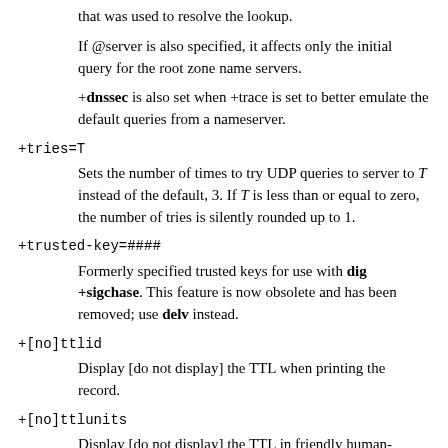that was used to resolve the lookup.
If @server is also specified, it affects only the initial query for the root zone name servers.
+dnssec is also set when +trace is set to better emulate the default queries from a nameserver.
+tries=T
Sets the number of times to try UDP queries to server to T instead of the default, 3. If T is less than or equal to zero, the number of tries is silently rounded up to 1.
+trusted-key=####
Formerly specified trusted keys for use with dig +sigchase. This feature is now obsolete and has been removed; use delv instead.
+[no]ttlid
Display [do not display] the TTL when printing the record.
+[no]ttlunits
Display [do not display] the TTL in friendly human-readable